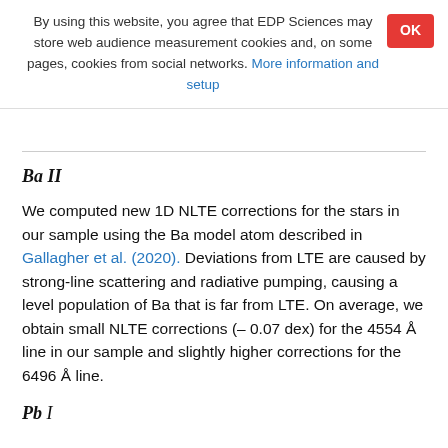By using this website, you agree that EDP Sciences may store web audience measurement cookies and, on some pages, cookies from social networks. More information and setup
Ba II
We computed new 1D NLTE corrections for the stars in our sample using the Ba model atom described in Gallagher et al. (2020). Deviations from LTE are caused by strong-line scattering and radiative pumping, causing a level population of Ba that is far from LTE. On average, we obtain small NLTE corrections (– 0.07 dex) for the 4554 Å line in our sample and slightly higher corrections for the 6496 Å line.
Pb I